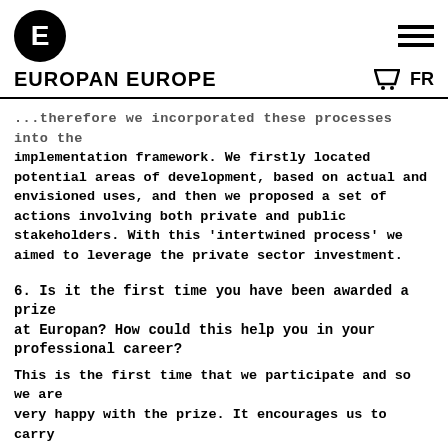EUROPAN EUROPE   FR
...therefore we incorporated these processes into the implementation framework. We firstly located potential areas of development, based on actual and envisioned uses, and then we proposed a set of actions involving both private and public stakeholders. With this 'intertwined process' we aimed to leverage the private sector investment.
6. Is it the first time you have been awarded a prize at Europan? How could this help you in your professional career?
This is the first time that we participate and so we are very happy with the prize. It encourages us to carry